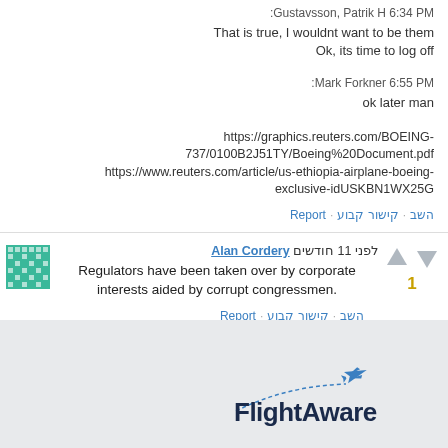:Gustavsson, Patrik H 6:34 PM
That is true, I wouldnt want to be them
Ok, its time to log off
:Mark Forkner 6:55 PM
ok later man
https://graphics.reuters.com/BOEING-737/0100B2J51TY/Boeing%20Document.pdf
https://www.reuters.com/article/us-ethiopia-airplane-boeing-exclusive-idUSKBN1WX25G
השב · קישור קבוע · Report
Alan Cordery לפני 11 חודשים
Regulators have been taken over by corporate interests aided by corrupt congressmen.
השב · קישור קבוע · Report
[Figure (logo): FlightAware logo with airplane icon and dashed line]